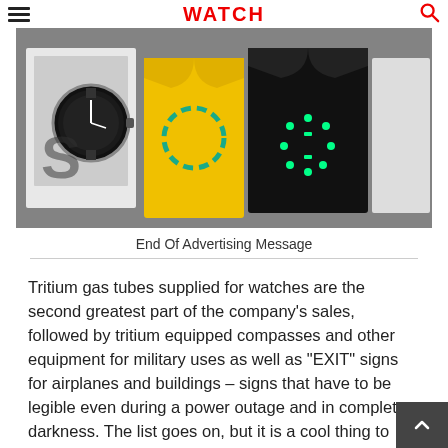WATCH
[Figure (photo): Advertisement image showing a watch, watch-themed t-shirts and printed materials arranged together in a collage]
End Of Advertising Message
Tritium gas tubes supplied for watches are the second greatest part of the company's sales, followed by tritium equipped compasses and other equipment for military uses as well as "EXIT" signs for airplanes and buildings – signs that have to be legible even during a power outage and in complete darkness. The list goes on, but it is a cool thing to think about how useful a permanently illuminated accessory can be.